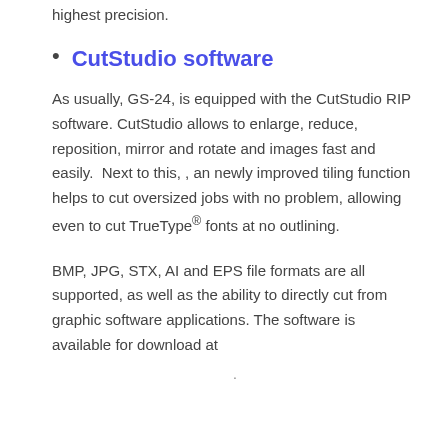highest precision.
CutStudio software
As usually, GS-24, is equipped with the CutStudio RIP software. CutStudio allows to enlarge, reduce, reposition, mirror and rotate and images fast and easily.  Next to this, , an newly improved tiling function helps to cut oversized jobs with no problem, allowing even to cut TrueType® fonts at no outlining.
BMP, JPG, STX, AI and EPS file formats are all supported, as well as the ability to directly cut from graphic software applications. The software is available for download at
.